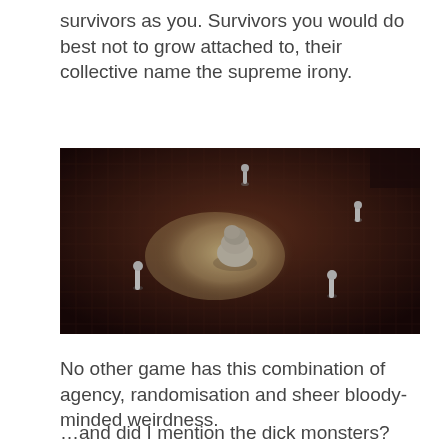survivors as you. Survivors you would do best not to grow attached to, their collective name the supreme irony.
[Figure (photo): A tabletop board game scene showing miniature figurines on a gridded dungeon tile board. A large monster miniature sits in the center on an illuminated area, with several smaller human/survivor figurines positioned around the edges of the board in a dark setting.]
No other game has this combination of agency, randomisation and sheer bloody-minded weirdness.
…and did I mention the dick monsters?